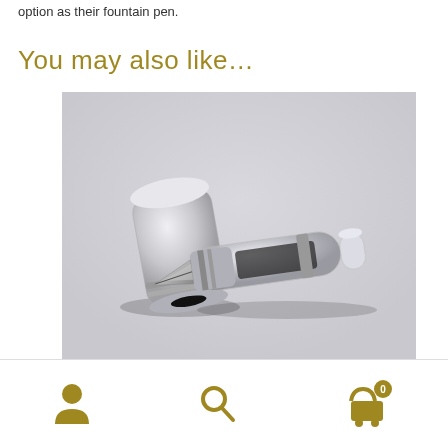option as their fountain pen.
You may also like…
[Figure (photo): A transparent/clear fountain pen with its cap removed, showing the nib and ink reservoir, photographed on a light gray background.]
Navigation bar with user account icon, search icon, and shopping cart icon with badge showing 0